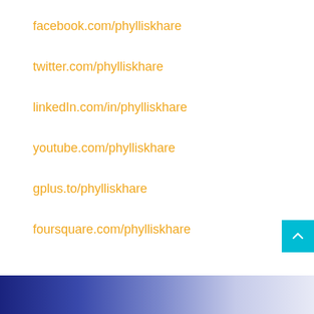facebook.com/phylliskhare
twitter.com/phylliskhare
linkedIn.com/in/phylliskhare
youtube.com/phylliskhare
gplus.to/phylliskhare
foursquare.com/phylliskhare